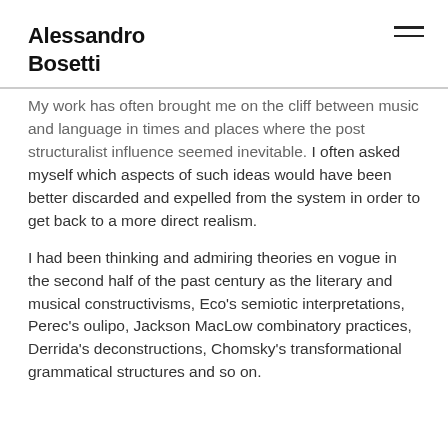Alessandro Bosetti
My work has often brought me on the cliff between music and language in times and places where the post structuralist influence seemed inevitable. I often asked myself which aspects of such ideas would have been better discarded and expelled from the system in order to get back to a more direct realism.
I had been thinking and admiring theories en vogue in the second half of the past century as the literary and musical constructivisms, Eco's semiotic interpretations, Perec's oulipo, Jackson MacLow combinatory practices, Derrida's deconstructions, Chomsky's transformational grammatical structures and so on.